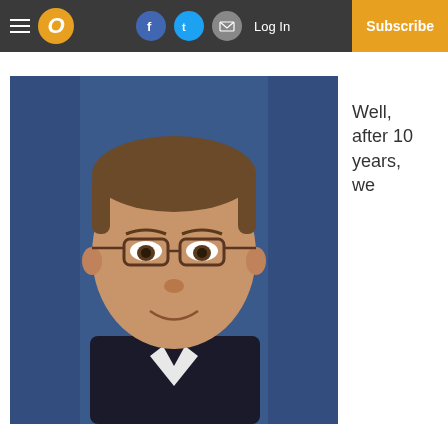Navigation bar with hamburger menu, O logo, Facebook, Twitter, Email social icons, Log In, Subscribe
[Figure (photo): Headshot of a middle-aged man with short brown hair, glasses, wearing a dark blazer and white shirt, against a blue background]
Well, after 10 years, we